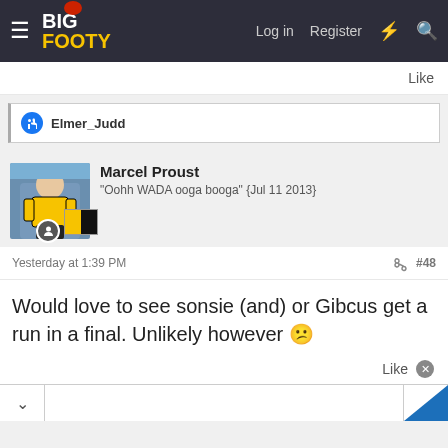BigFooty — Log in  Register
Like
Elmer_Judd
Marcel Proust
"Oohh WADA ooga booga" {Jul 11 2013}
Yesterday at 1:39 PM  #48
Would love to see sonsie (and) or Gibcus get a run in a final. Unlikely however 😕
Like